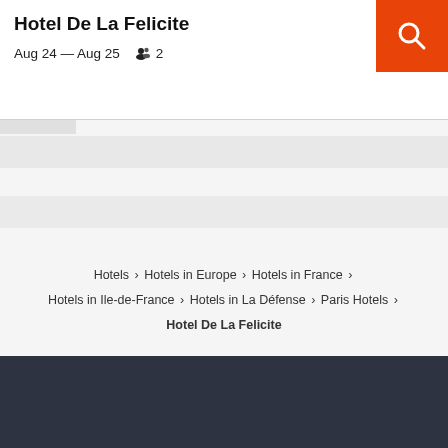Hotel De La Felicite
Aug 24 — Aug 25    2
[Figure (screenshot): Orange search button with magnifying glass icon in top-right corner]
[Figure (other): Three gray skeleton loading bars representing content placeholders]
Hotels > Hotels in Europe > Hotels in France > Hotels in Ile-de-France > Hotels in La Défense > Paris Hotels > Hotel De La Felicite